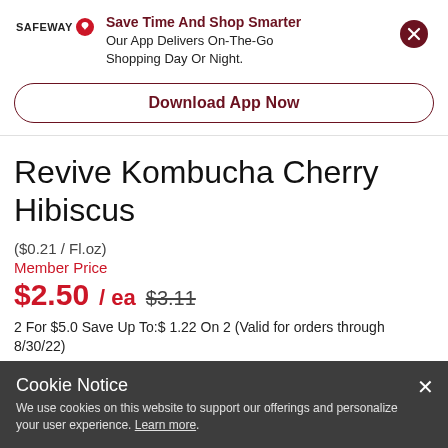[Figure (logo): Safeway logo with red circular icon]
Save Time And Shop Smarter
Our App Delivers On-The-Go Shopping Day Or Night.
Download App Now
Revive Kombucha Cherry Hibiscus
($0.21 / Fl.oz)
Member Price
$2.50 / ea $3.11
2 For $5.0 Save Up To:$ 1.22 On 2 (Valid for orders through 8/30/22)
Cookie Notice
We use cookies on this website to support our offerings and personalize your user experience. Learn more.